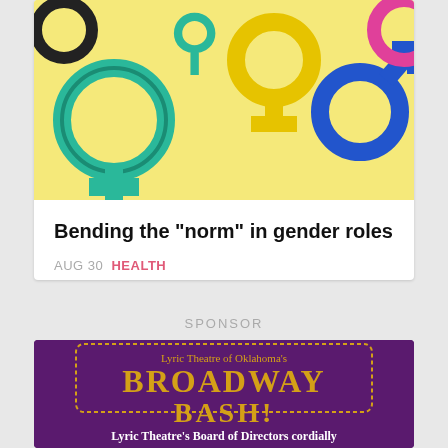[Figure (illustration): Colorful gender symbols (male, female, non-binary) on a yellow background in a pop-art style]
Bending the "norm" in gender roles
AUG 30  HEALTH
SPONSOR
[Figure (illustration): Advertisement for Lyric Theatre of Oklahoma's Broadway Bash on purple background with gold text. Bottom text reads: Lyric Theatre's Board of Directors cordially]